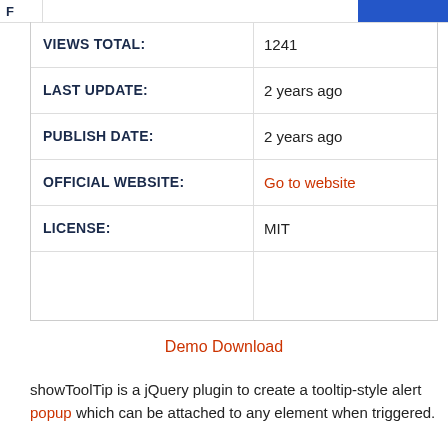F
| Field | Value |
| --- | --- |
| VIEWS TOTAL: | 1241 |
| LAST UPDATE: | 2 years ago |
| PUBLISH DATE: | 2 years ago |
| OFFICIAL WEBSITE: | Go to website |
| LICENSE: | MIT |
Demo Download
showToolTip is a jQuery plugin to create a tooltip-style alert popup which can be attached to any element when triggered.
It provides a callback function which will be fired when the user clicks on the Okay button inside the alert popup.
The plugin grabs dimensional information about the popup, host element and the viewport width and height to calculate in which direction to show